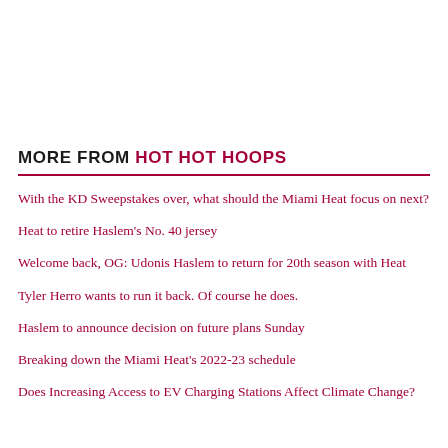MORE FROM HOT HOT HOOPS
With the KD Sweepstakes over, what should the Miami Heat focus on next?
Heat to retire Haslem's No. 40 jersey
Welcome back, OG: Udonis Haslem to return for 20th season with Heat
Tyler Herro wants to run it back. Of course he does.
Haslem to announce decision on future plans Sunday
Breaking down the Miami Heat's 2022-23 schedule
Does Increasing Access to EV Charging Stations Affect Climate Change?